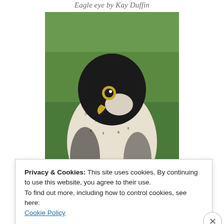Eagle eye by Kay Duffin
[Figure (photo): Close-up portrait of a peregrine falcon (hawk) with dark head, yellow eye ring, and speckled white chest, against a green grass background]
Hawk by Pam Watson
[Figure (photo): Outdoor scene with bright orange and yellow tulips in the foreground, a modern building and person in the background under a blue sky]
Privacy & Cookies: This site uses cookies. By continuing to use this website, you agree to their use.
To find out more, including how to control cookies, see here:
Cookie Policy
Close and accept